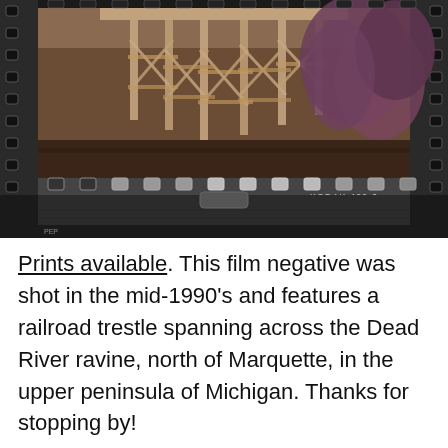[Figure (photo): A film negative strip showing a railroad trestle spanning across a ravine, with trees visible on the right side. The film strip shows sprocket holes along the top and bottom edges, and the text 'KODAK 400-2' is visible on the film strip border. The image has a sepia/brownish tone typical of a photographic negative.]
Prints available. This film negative was shot in the mid-1990's and features a railroad trestle spanning across the Dead River ravine, north of Marquette, in the upper peninsula of Michigan. Thanks for stopping by!